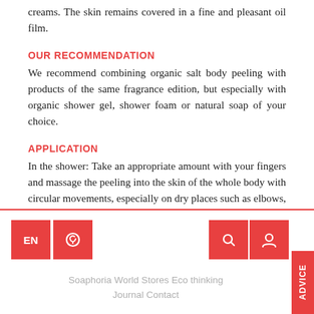creams. The skin remains covered in a fine and pleasant oil film.
OUR RECOMMENDATION
We recommend combining organic salt body peeling with products of the same fragrance edition, but especially with organic shower gel, shower foam or natural soap of your choice.
APPLICATION
In the shower: Take an appropriate amount with your fingers and massage the peeling into the skin of the whole body with circular movements, especially on dry places such as elbows, feet and knees. After
EN  Soaphoria World Stores Eco thinking Journal Contact  ADVICE